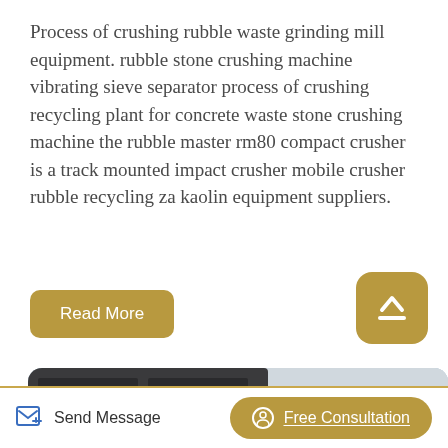Process of crushing rubble waste grinding mill equipment. rubble stone crushing machine vibrating sieve separator process of crushing recycling plant for concrete waste stone crushing machine the rubble master rm80 compact crusher is a track mounted impact crusher mobile crusher rubble recycling za kaolin equipment suppliers.
Read More
[Figure (photo): Industrial crushing/grinding mill machine equipment photographed from below against a light grey building facade in the background. The machine has dark metal components with a red/dark conveyor element visible.]
Send Message
Free Consultation